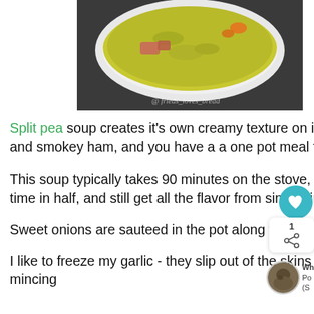[Figure (photo): Close-up photo of a white bowl containing split pea soup with visible ham and carrots, on a dark background. Watermark reads '@ frieds_loves_bread']
Split pea soup creates it's own creamy texture on it's own, without any need for a blender. Add sweet carrots and smokey ham, and you have a a one pot meal that is a special treat.
This soup typically takes 90 minutes on the stove, but when using your pressure cooker, you can cut the cook time in half, and still get all the flavor from simmering on the sto
Sweet onions are sauteed in the pot along with fresh gar
I like to freeze my garlic - they slip out of the skins so easily and this garlic press is so much easier to use than mincing